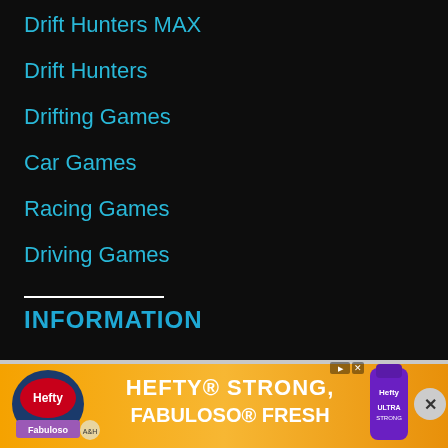Drift Hunters MAX
Drift Hunters
Drifting Games
Car Games
Racing Games
Driving Games
INFORMATION
Contact Us
Resou...
[Figure (screenshot): Hefty advertisement banner: 'HEFTY STRONG, FABULOSO FRESH' with Hefty and Fabuloso logos and product packaging on orange gradient background]